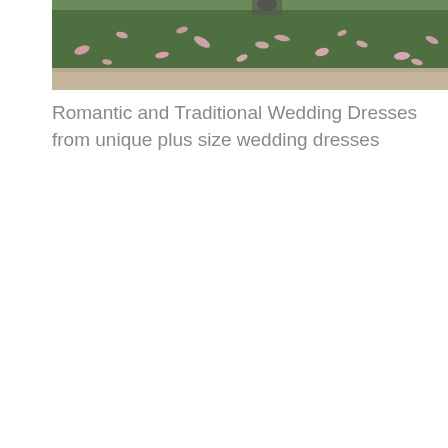[Figure (photo): Outdoor scene showing a grass area with pink flower petals scattered on the ground near a stone or concrete border. A person is partially visible at the top edge.]
Romantic and Traditional Wedding Dresses from unique plus size wedding dresses